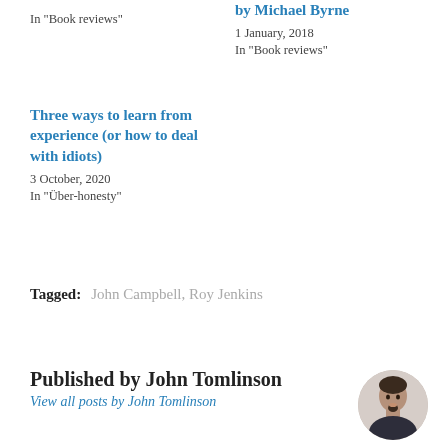In "Book reviews"
by Michael Byrne
1 January, 2018
In "Book reviews"
Three ways to learn from experience (or how to deal with idiots)
3 October, 2020
In "Über-honesty"
Tagged:  John Campbell,  Roy Jenkins
Published by John Tomlinson
View all posts by John Tomlinson
[Figure (photo): Circular avatar photo of John Tomlinson, a man with dark hair and goatee beard]